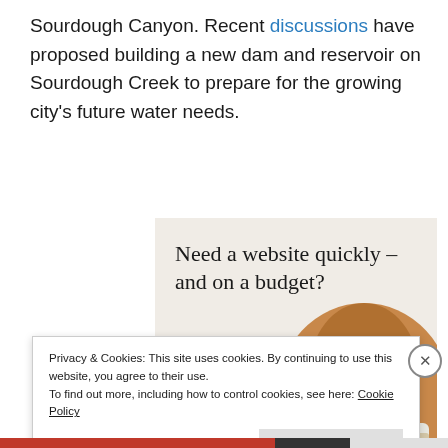Sourdough Canyon. Recent discussions have proposed building a new dam and reservoir on Sourdough Creek to prepare for the growing city’s future water needs.
[Figure (other): Advertisement banner with beige background showing 'Need a website quickly – and on a budget? Let us build it for you' with a 'Let’s get started' button and a circular photo of hands typing on a laptop.]
Privacy & Cookies: This site uses cookies. By continuing to use this website, you agree to their use.
To find out more, including how to control cookies, see here: Cookie Policy
Close and accept